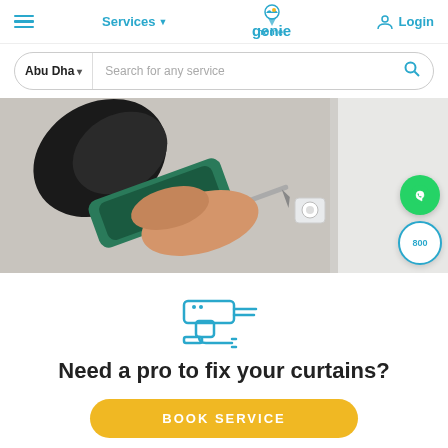≡  Services ▾   home.genie   Login
Abu Dha ▾   Search for any service 🔍
[Figure (photo): Close-up photo of a hand using a power drill to install a curtain bracket on a white wall]
[Figure (illustration): Blue outline icon of a power drill / curtain fixture tool]
Need a pro to fix your curtains?
BOOK SERVICE